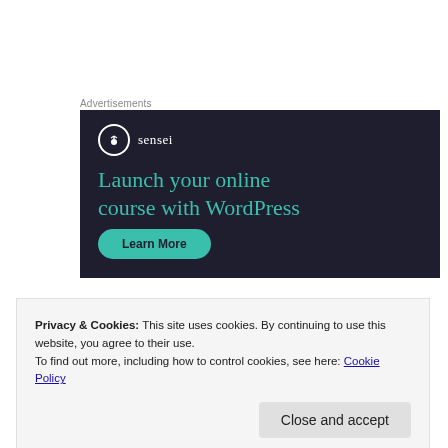Advertisements
[Figure (other): Sensei advertisement banner with dark navy background. Shows Sensei logo (tree icon in circle) with brand name 'sensei', headline text 'Launch your online course with WordPress' in teal color, and a teal 'Learn More' button.]
Privacy & Cookies: This site uses cookies. By continuing to use this website, you agree to their use.
To find out more, including how to control cookies, see here: Cookie Policy
Close and accept